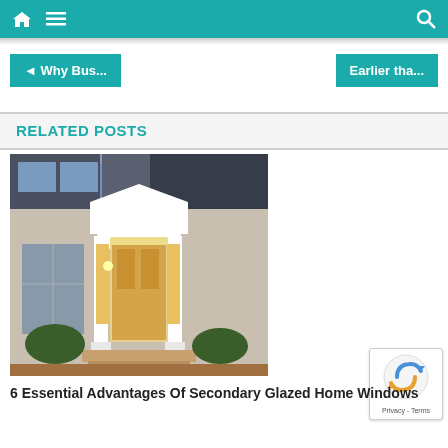Navigation bar with home, menu, and search icons
◄ Why Bus...
Earlier tha...
RELATED POSTS
[Figure (photo): Exterior photo of a house with white columns, a portico entrance, siding exterior, and a front door with sidelights lit from inside.]
6 Essential Advantages Of Secondary Glazed Home Windows